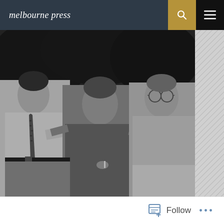melbourne press
[Figure (photo): Black and white photograph of three men standing together outdoors, with trees in the background. The man on the left wears a tie and holds a cigarette. The man in the center wears a dark sweater. The man on the right wears glasses and a light shirt. The center man has his arms around the other two.]
Follow ...